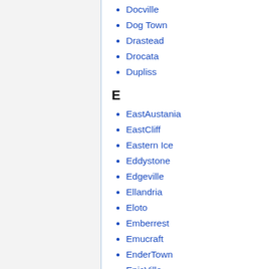Docville
Dog Town
Drastead
Drocata
Dupliss
E
EastAustania
EastCliff
Eastern Ice
Eddystone
Edgeville
Ellandria
Eloto
Emberrest
Emucraft
EnderTown
EpicVille
Exfay
Explorer's Island